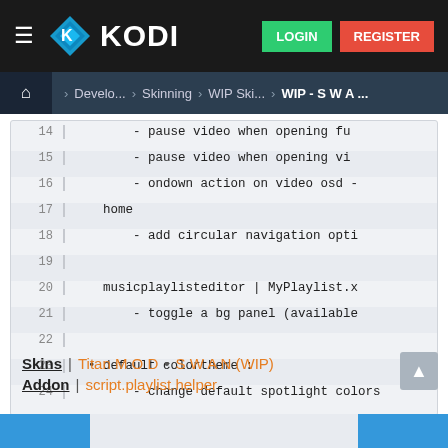KODI | LOGIN | REGISTER
Home > Develo... > Skinning > WIP Ski... > WIP - S W A ...
14    - pause video when opening fu
15    - pause video when opening vi
16    - ondown action on video osd -
17    home
18    - add circular navigation opti
19
20    musicplaylisteditor | MyPlaylist.x
21    - toggle a bg panel (available
22
23  • default colortheme :
24    - change default spotlight colors
Skins | Titan M O D • S W A N (WIP)
Addon | script.playlist.helper